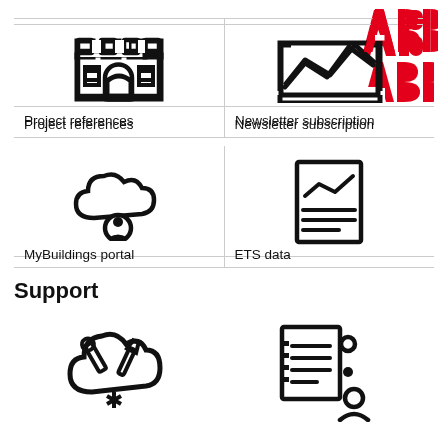[Figure (logo): ABB logo in red]
[Figure (illustration): Castle/building icon]
Project references
[Figure (illustration): Line chart / newsletter icon]
Newsletter subscription
[Figure (illustration): Cloud with person icon - MyBuildings portal]
MyBuildings portal
[Figure (illustration): Document with chart and lines - ETS data]
ETS data
Support
[Figure (illustration): Cloud with wrench and tools icon]
[Figure (illustration): Document/checklist with person icon]